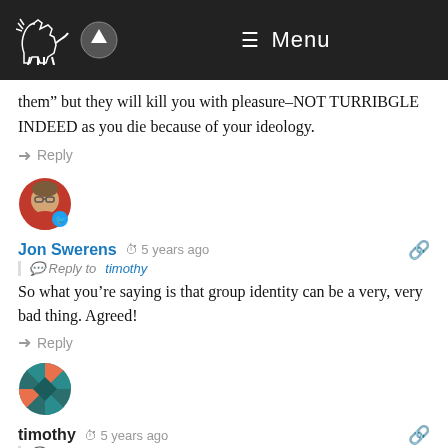Menu
them" but they will kill you with pleasure–NOT TURRIBGLE INDEED as you die because of your ideology.
Reply
[Figure (photo): Avatar of Jon Swerens with Twitter blue bird badge]
Jon Swerens  5 years ago
Reply to timothy
So what you're saying is that group identity can be a very, very bad thing. Agreed!
Reply
[Figure (photo): Avatar of timothy with teal and orange geometric pattern]
timothy  5 years ago
Reply to Jon Swerens